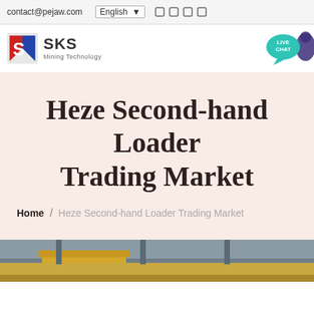contact@pejaw.com  English  [icons]
[Figure (logo): SKS Mining Technology logo — red/blue angular S icon with 'SKS' text and 'Mining Technology' subtitle]
[Figure (infographic): Live Chat bubble icon in teal/turquoise with speech bubble, purple figure to the right]
Heze Second-hand Loader Trading Market
Home / Heze Second-hand Loader Trading Market
[Figure (photo): Bottom portion of a warehouse or industrial building with yellow equipment visible, grey roof structure]